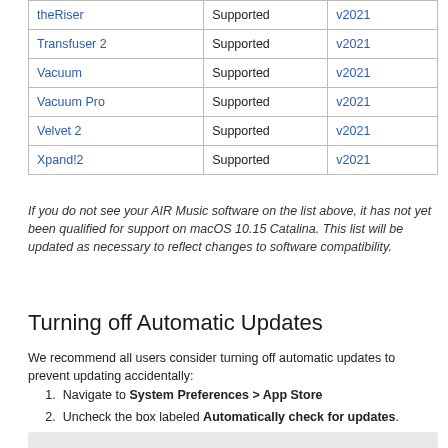|  | Status | Version |
| --- | --- | --- |
| theRiser | Supported | v2021 |
| Transfuser 2 | Supported | v2021 |
| Vacuum | Supported | v2021 |
| Vacuum Pro | Supported | v2021 |
| Velvet 2 | Supported | v2021 |
| Xpand!2 | Supported | v2021 |
If you do not see your AIR Music software on the list above, it has not yet been qualified for support on macOS 10.15 Catalina. This list will be updated as necessary to reflect changes to software compatibility.
Turning off Automatic Updates
We recommend all users consider turning off automatic updates to prevent updating accidentally:
1. Navigate to System Preferences > App Store
2. Uncheck the box labeled Automatically check for updates.